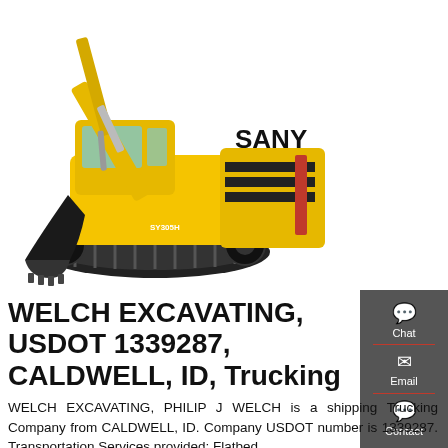[Figure (photo): Yellow SANY excavator (model SY305H) on white background, showing tracks, boom arm, and cab with SANY branding on the body.]
WELCH EXCAVATING, USDOT 1339287, CALDWELL, ID, Trucking
WELCH EXCAVATING, PHILIP J WELCH is a shipping Trucking Company from CALDWELL, ID. Company USDOT number is 1339287. Transportation Services provided: Flatbed